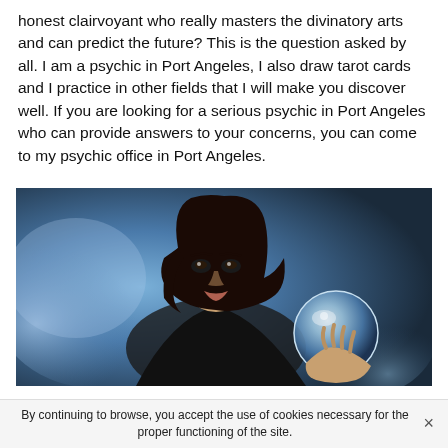honest clairvoyant who really masters the divinatory arts and can predict the future? This is the question asked by all. I am a psychic in Port Angeles, I also draw tarot cards and I practice in other fields that I will make you discover well. If you are looking for a serious psychic in Port Angeles who can provide answers to your concerns, you can come to my psychic office in Port Angeles.
[Figure (photo): A woman with dark hair dressed in black, holding a crystal ball, photographed against a blue smoky background. She has dramatic eye makeup and a serious expression.]
By continuing to browse, you accept the use of cookies necessary for the proper functioning of the site.